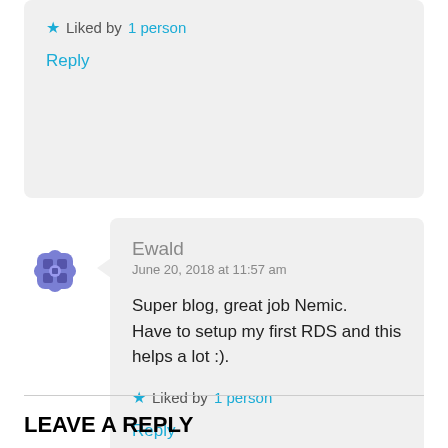Liked by 1 person
Reply
[Figure (illustration): Blue/purple decorative avatar icon with floral/grid pattern]
Ewald
June 20, 2018 at 11:57 am
Super blog, great job Nemic. Have to setup my first RDS and this helps a lot :).
Liked by 1 person
Reply
LEAVE A REPLY